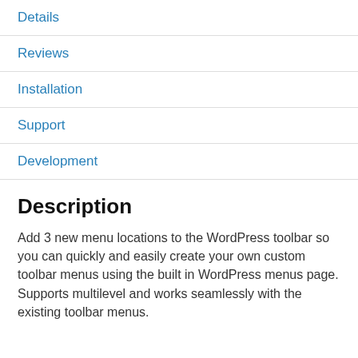Details
Reviews
Installation
Support
Development
Description
Add 3 new menu locations to the WordPress toolbar so you can quickly and easily create your own custom toolbar menus using the built in WordPress menus page.
Supports multilevel and works seamlessly with the existing toolbar menus.